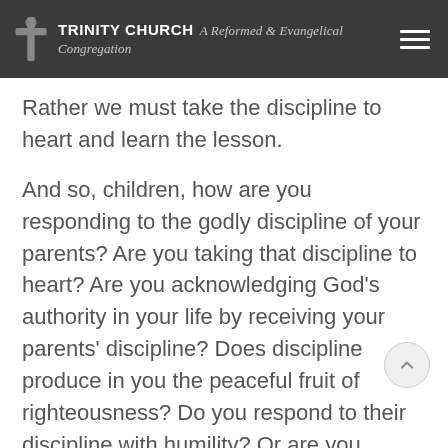TRINITY CHURCH A Reformed & Evangelical Congregation
Rather we must take the discipline to heart and learn the lesson.
And so, children, how are you responding to the godly discipline of your parents? Are you taking that discipline to heart? Are you acknowledging God’s authority in your life by receiving your parents’ discipline? Does discipline produce in you the peaceful fruit of righteousness? Do you respond to their discipline with humility? Or are you becoming angry, resentful, bitter, or depressed? And what of you adults? Are you responding to the discipline...